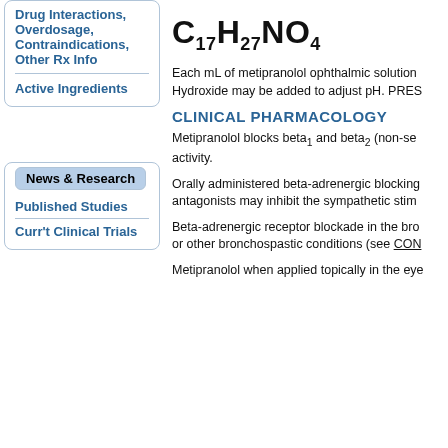Drug Interactions, Overdosage, Contraindications, Other Rx Info
Active Ingredients
News & Research
Published Studies
Curr't Clinical Trials
Each mL of metipranolol ophthalmic solution Hydroxide may be added to adjust pH. PRES
CLINICAL PHARMACOLOGY
Metipranolol blocks beta1 and beta2 (non-se activity.
Orally administered beta-adrenergic blocking antagonists may inhibit the sympathetic stim
Beta-adrenergic receptor blockade in the bro or other bronchospastic conditions (see CON
Metipranolol when applied topically in the eye